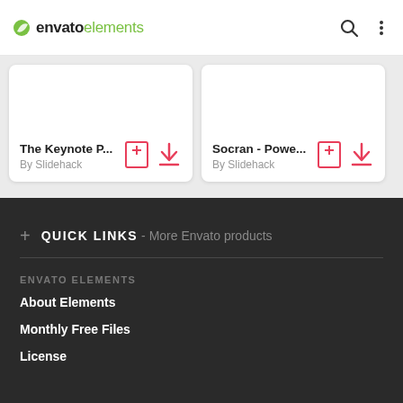envato elements
The Keynote P... By Slidehack
Socran - Powe... By Slidehack
QUICK LINKS - More Envato products
ENVATO ELEMENTS
About Elements
Monthly Free Files
License